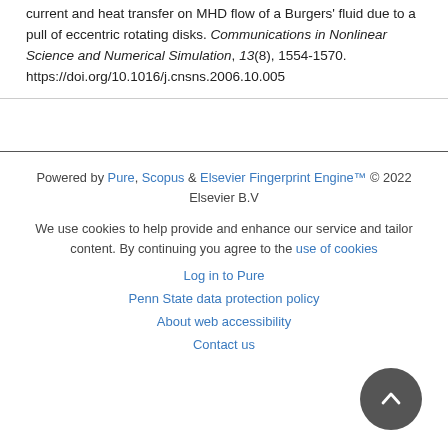current and heat transfer on MHD flow of a Burgers' fluid due to a pull of eccentric rotating disks. Communications in Nonlinear Science and Numerical Simulation, 13(8), 1554-1570. https://doi.org/10.1016/j.cnsns.2006.10.005
Powered by Pure, Scopus & Elsevier Fingerprint Engine™ © 2022 Elsevier B.V
We use cookies to help provide and enhance our service and tailor content. By continuing you agree to the use of cookies
Log in to Pure
Penn State data protection policy
About web accessibility
Contact us